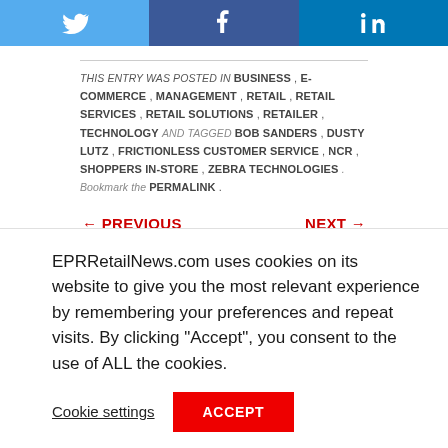[Figure (other): Social sharing buttons: Twitter, Facebook, LinkedIn]
THIS ENTRY WAS POSTED IN BUSINESS , E-COMMERCE , MANAGEMENT , RETAIL , RETAIL SERVICES , RETAIL SOLUTIONS , RETAILER , TECHNOLOGY AND TAGGED BOB SANDERS , DUSTY LUTZ , FRICTIONLESS CUSTOMER SERVICE , NCR , SHOPPERS IN-STORE , ZEBRA TECHNOLOGIES . BOOKMARK THE PERMALINK .
← PREVIOUS
NEXT →
EPRRetailNews.com uses cookies on its website to give you the most relevant experience by remembering your preferences and repeat visits. By clicking "Accept", you consent to the use of ALL the cookies.
Cookie settings
ACCEPT